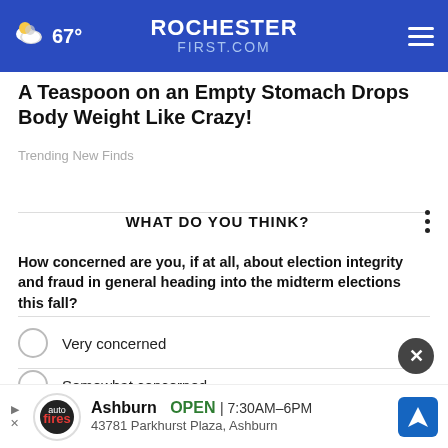67° ROCHESTERFIRST.COM
A Teaspoon on an Empty Stomach Drops Body Weight Like Crazy!
Trending New Finds
WHAT DO YOU THINK?
How concerned are you, if at all, about election integrity and fraud in general heading into the midterm elections this fall?
Very concerned
Somewhat concerned
Not at all concerned
Ashburn OPEN 7:30AM–6PM 43781 Parkhurst Plaza, Ashburn